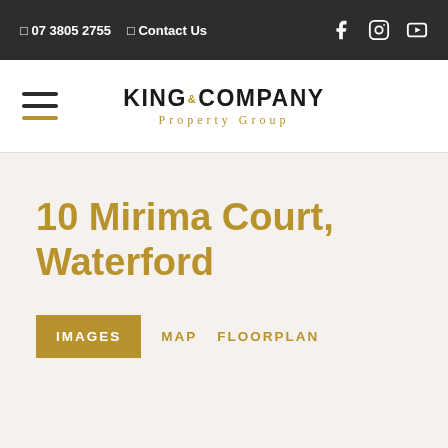07 3805 2755   Contact Us
[Figure (logo): King & Company Property Group logo with hamburger menu]
10 Mirima Court, Waterford
IMAGES   MAP   FLOORPLAN